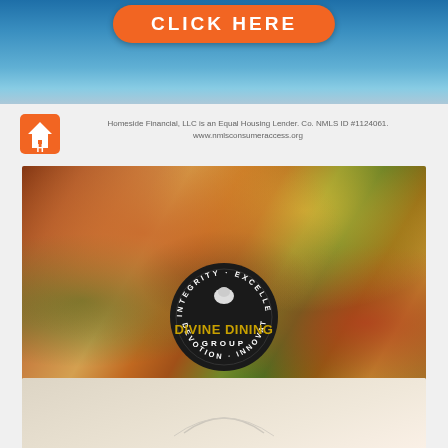[Figure (photo): Partial top banner with ocean/beach background and orange 'CLICK HERE' button]
[Figure (logo): Orange house icon with letter H - Homeside Financial Equal Housing Lender logo]
Homeside Financial, LLC is an Equal Housing Lender. Co. NMLS ID #1124061. www.nmlsconsumeraccess.org
[Figure (photo): Divine Dining Group advertisement showing seafood and food spread with black circular logo overlay and gold/yellow URL bar reading WWW.DIVINEDININGGROUP.COM]
WWW.DIVINEDININGGROUP.COM
[Figure (photo): Partial bottom image strip showing light beige/cream background, partially cut off]